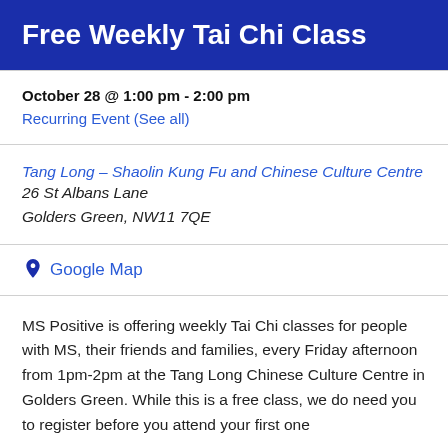Free Weekly Tai Chi Class
October 28 @ 1:00 pm - 2:00 pm
Recurring Event (See all)
Tang Long – Shaolin Kung Fu and Chinese Culture Centre 26 St Albans Lane
Golders Green, NW11 7QE
Google Map
MS Positive is offering weekly Tai Chi classes for people with MS, their friends and families, every Friday afternoon from 1pm-2pm at the Tang Long Chinese Culture Centre in Golders Green. While this is a free class, we do need you to register before you attend your first one